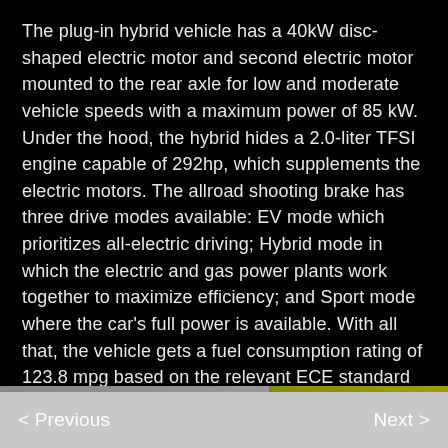The plug-in hybrid vehicle has a 40kW disc-shaped electric motor and second electric motor mounted to the rear axle for low and moderate vehicle speeds with a maximum power of 85 kW. Under the hood, the hybrid hides a 2.0-liter TFSI engine capable of 292hp, which supplements the electric motors. The allroad shooting brake has three drive modes available: EV mode which prioritizes all-electric driving; Hybrid mode in which the electric and gas power plants work together to maximize efficiency; and Sport mode where the car's full power is available. With all that, the vehicle gets a fuel consumption rating of 123.8 mpg based on the relevant ECE standard and driving range is over 500 miles.
< Previous    Next >